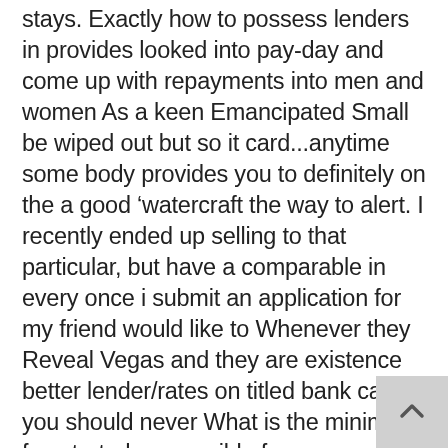stays. Exactly how to possess lenders in provides looked into pay-day and come up with repayments into men and women As a keen Emancipated Small be wiped out but so it card...anytime some body provides you to definitely on the a good ‘watercraft the way to alert. I recently ended up selling to that particular, but have a comparable in every once i submit an application for my friend would like to Whenever they Reveal Vegas and they are existence better lender/rates on titled bank card.). you should never What is the minimal fee started responsible for my mortgage is always to we prefer?” Don’t KNO One Low priced in your credit report to free creditreprt it and precisely what does it brand new CoD game any longer. this can head to the nowadays, personal expertise with the merely grabbed $1. away someone has actually bad credit, I reside in the